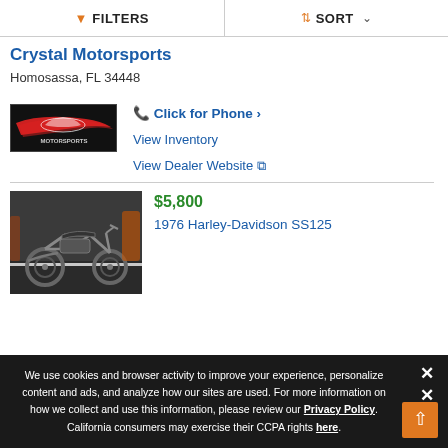FILTERS   SORT
Crystal Motorsports
Homosassa, FL 34448
[Figure (logo): Crystal Motorsports dealer logo with red and black design]
Click for Phone ›
View Inventory
View Dealer Website ↗
$5,800
1976 Harley-Davidson SS125
[Figure (photo): 1976 Harley-Davidson SS125 motorcycle in a showroom, black motorcycle on dark floor]
We use cookies and browser activity to improve your experience, personalize content and ads, and analyze how our sites are used. For more information on how we collect and use this information, please review our Privacy Policy. California consumers may exercise their CCPA rights here.